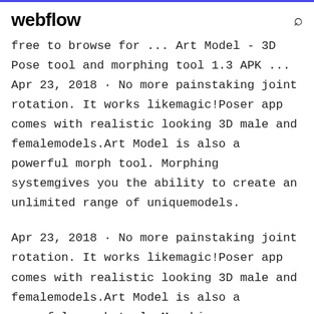webflow
free to browse for ... Art Model - 3D Pose tool and morphing tool 1.3 APK ... Apr 23, 2018 · No more painstaking joint rotation. It works likemagic!Poser app comes with realistic looking 3D male and femalemodels.Art Model is also a powerful morph tool. Morphing systemgives you the ability to create an unlimited range of uniquemodels.
Apr 23, 2018 · No more painstaking joint rotation. It works likemagic!Poser app comes with realistic looking 3D male and femalemodels.Art Model is also a powerful morph tool. Morphing systemgives you the ability to create an unlimited range of